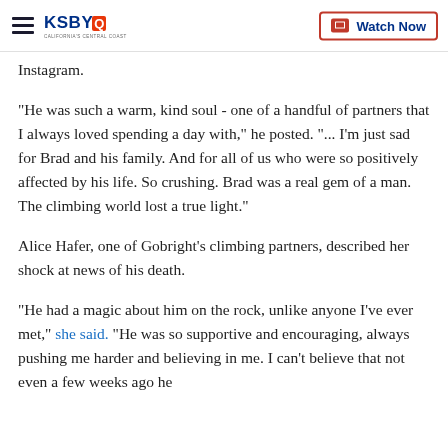KSBY — California's Central Coast | Watch Now
Instagram.
"He was such a warm, kind soul - one of a handful of partners that I always loved spending a day with," he posted. "... I'm just sad for Brad and his family. And for all of us who were so positively affected by his life. So crushing. Brad was a real gem of a man. The climbing world lost a true light."
Alice Hafer, one of Gobright's climbing partners, described her shock at news of his death.
"He had a magic about him on the rock, unlike anyone I've ever met," she said. "He was so supportive and encouraging, always pushing me harder and believing in me. I can't believe that not even a few weeks ago he